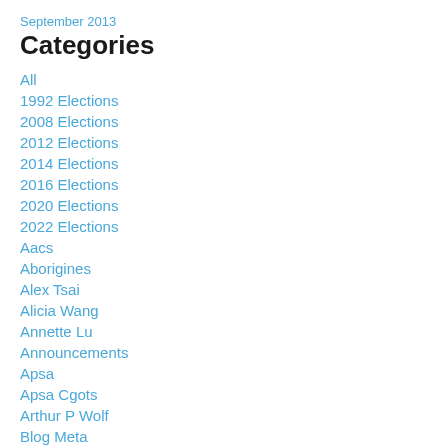September 2013
Categories
All
1992 Elections
2008 Elections
2012 Elections
2014 Elections
2016 Elections
2020 Elections
2022 Elections
Aacs
Aborigines
Alex Tsai
Alicia Wang
Annette Lu
Announcements
Apsa
Apsa Cgots
Arthur P Wolf
Blog Meta